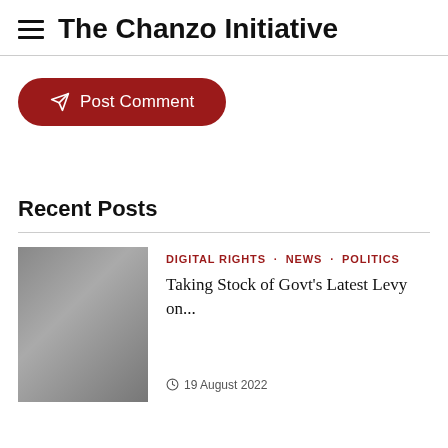The Chanzo Initiative
[Figure (screenshot): Post Comment button — dark red pill-shaped button with send/paper-plane icon]
Recent Posts
[Figure (photo): Thumbnail image for a recent post, grayscale/dark photo]
DIGITAL RIGHTS · NEWS · POLITICS
Taking Stock of Govt's Latest Levy on...
19 August 2022